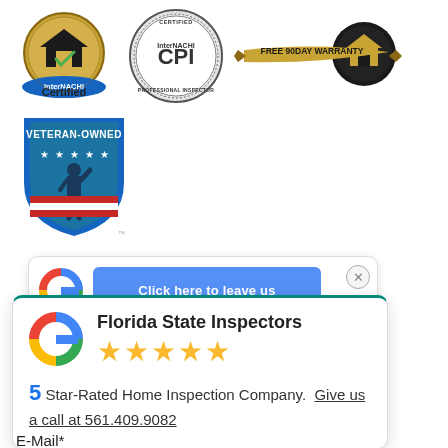[Figure (logo): Row of certification badges: InterNACHI Certified (gold/blue badge), InterNACHI CPI Certified Professional Inspector (grey seal), and Free 90 Day Warranty (gold ribbon/house badge)]
[Figure (logo): Veteran-Owned business badge with blue/red shield design, saluting soldier silhouette and stars]
[Figure (screenshot): Google review popup widget showing Google G logo, blue bar with 'Click here to leave us a' text, close button (X)]
[Figure (infographic): Google review card showing Florida State Inspectors, 5 gold stars, '5 Star-Rated Home Inspection Company. Give us a call at 561.409.9082']
E-Mail*